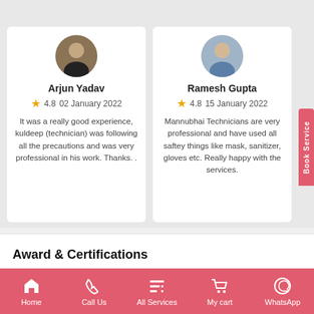[Figure (screenshot): Review card for Arjun Yadav with avatar, 4.8 star rating, 02 January 2022, and review text]
Arjun Yadav
4.8  02 January 2022
It was a really good experience, kuldeep (technician) was following all the precautions and was very professional in his work. Thanks. .
[Figure (screenshot): Review card for Ramesh Gupta with avatar, 4.8 star rating, 15 January 2022, and review text]
Ramesh Gupta
4.8  15 January 2022
Mannubhai Technicians are very professional and have used all saftey things like mask, sanitizer, gloves etc. Really happy with the services.
Award & Certifications
Home  Call Us  All Services  My cart  WhatsApp